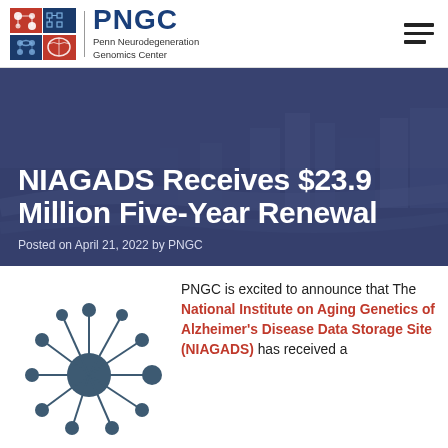PNGC Penn Neurodegeneration Genomics Center
NIAGADS Receives $23.9 Million Five-Year Renewal
Posted on April 21, 2022 by PNGC
[Figure (illustration): Network graph icon showing a central dark node connected to multiple surrounding smaller nodes via lines, representing data or genomic network.]
PNGC is excited to announce that The National Institute on Aging Genetics of Alzheimer's Disease Data Storage Site (NIAGADS) has received a